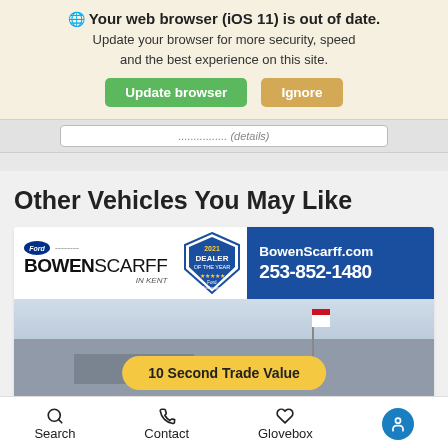Your web browser (iOS 11) is out of date. Update your browser for more security, speed and the best experience on this site.
Update browser | Ignore
Other Vehicles You May Like
[Figure (infographic): BowenScarff Ford dealership advertisement banner with logo, 2021 Dealer of the Year badge, website BowenScarff.com, phone 253-852-1480, dealership photo, and '10 Second Trade Value' button]
Search   Contact   Glovebox